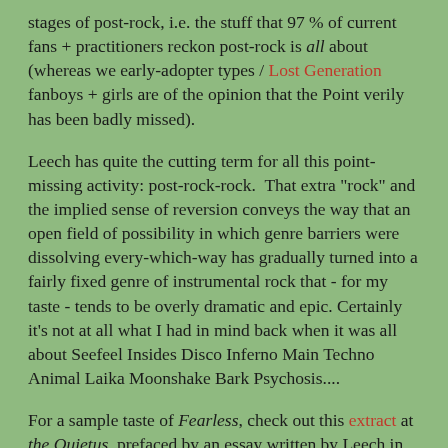stages of post-rock, i.e. the stuff that 97 % of current fans + practitioners reckon post-rock is all about (whereas we early-adopter types / Lost Generation fanboys + girls are of the opinion that the Point verily has been badly missed).
Leech has quite the cutting term for all this point-missing activity: post-rock-rock.  That extra "rock" and the implied sense of reversion conveys the way that an open field of possibility in which genre barriers were dissolving every-which-way has gradually turned into a fairly fixed genre of instrumental rock that - for my taste - tends to be overly dramatic and epic. Certainly it's not at all what I had in mind back when it was all about Seefeel Insides Disco Inferno Main Techno Animal Laika Moonshake Bark Psychosis....
For a sample taste of Fearless, check out this extract at the Quietus, prefaced by an essay written by Leech in parallel with her book that examines "how post-rock stopped dancing." Well, I don't know if there was ever that much post-rock that made you dance, but certainly there was a time when post-rockers were nearly all of them listening to and learning from dance music...